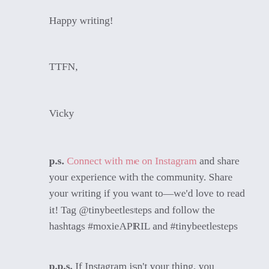Happy writing!
TTFN,
Vicky
p.s. Connect with me on Instagram and share your experience with the community. Share your writing if you want to—we'd love to read it! Tag @tinybeetlesteps and follow the hashtags #moxieAPRIL and #tinybeetlesteps
p.p.s. If Instagram isn't your thing, you